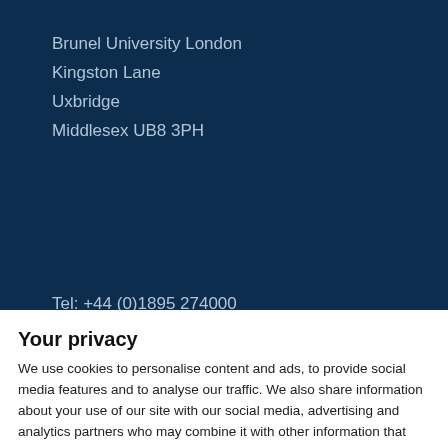Brunel University London
Kingston Lane
Uxbridge
Middlesex UB8 3PH
Tel: +44 (0)1895 274000
Fax: +44 (0)1895 232806
Security: +44 (0)1895 255786
Directions to...
Your privacy
We use cookies to personalise content and ads, to provide social media features and to analyse our traffic. We also share information about your use of our site with our social media, advertising and analytics partners who may combine it with other information that you've provided to them or that they've collected from your use of their services. You consent to our cookies if you continue to use our website.
Use necessary cookies only
Allow all cookies
Show details